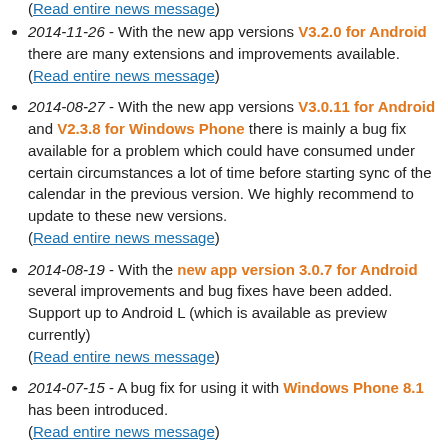2014-11-26 - With the new app versions V3.2.0 for Android there are many extensions and improvements available. (Read entire news message)
2014-08-27 - With the new app versions V3.0.11 for Android and V2.3.8 for Windows Phone there is mainly a bug fix available for a problem which could have consumed under certain circumstances a lot of time before starting sync of the calendar in the previous version. We highly recommend to update to these new versions. (Read entire news message)
2014-08-19 - With the new app version 3.0.7 for Android several improvements and bug fixes have been added. Support up to Android L (which is available as preview currently) (Read entire news message)
2014-07-15 - A bug fix for using it with Windows Phone 8.1 has been introduced. (Read entire news message)
2014-05-12 - Finally the Synthesis SyncML STD version (with contacts and calendar) as app version